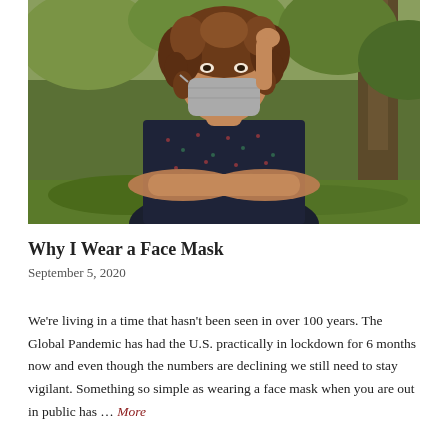[Figure (photo): A woman with curly brown hair wearing a grey face mask and a dark patterned dress, standing with arms crossed in an outdoor setting with green foliage and a tree in the background.]
Why I Wear a Face Mask
September 5, 2020
We're living in a time that hasn't been seen in over 100 years. The Global Pandemic has had the U.S. practically in lockdown for 6 months now and even though the numbers are declining we still need to stay vigilant. Something so simple as wearing a face mask when you are out in public has … More